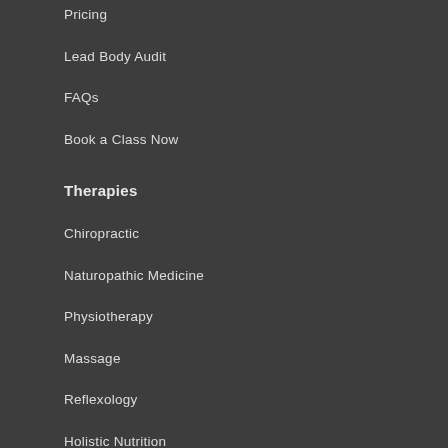Pricing
Lead Body Audit
FAQs
Book a Class Now
Therapies
Chiropractic
Naturopathic Medicine
Physiotherapy
Massage
Reflexology
Holistic Nutrition
Fascial Stretch Therapy
Mental Health
Manual Therapy
Personal Development Coaching
Pelvic Floor Health